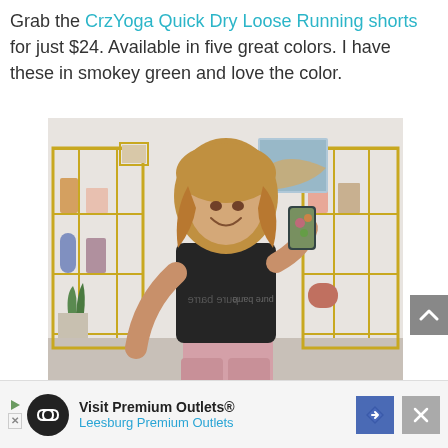Grab the CrzYoga Quick Dry Loose Running shorts for just $24. Available in five great colors. I have these in smokey green and love the color.
[Figure (photo): Woman taking a mirror selfie wearing a black 'pure barre' tank top and pink shorts, standing in a room with gold shelving unit]
Visit Premium Outlets® Leesburg Premium Outlets